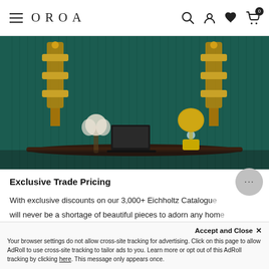OROA — navigation bar with hamburger menu, search, account, wishlist, cart (0)
[Figure (photo): Interior design photo showing a dark teal/green fluted wall panel with two ornate gold wall sconces on left and right, a curved dark console table with white flowers in a vase and a gold dome table lamp with crystal base]
Exclusive Trade Pricing
With exclusive discounts on our 3,000+ Eichholtz Catalogue, there will never be a shortage of beautiful pieces to adorn any home or interior. Luxury and sophistication, accessibility and...
Your browser settings do not allow cross-site tracking for advertising. Click on this page to allow AdRoll to use cross-site tracking to tailor ads to you. Learn more or opt out of this AdRoll tracking by clicking here. This message only appears once.